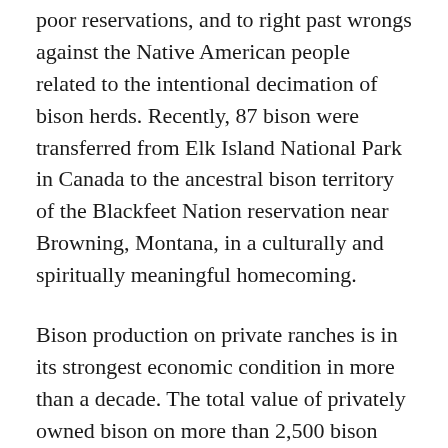poor reservations, and to right past wrongs against the Native American people related to the intentional decimation of bison herds. Recently, 87 bison were transferred from Elk Island National Park in Canada to the ancestral bison territory of the Blackfeet Nation reservation near Browning, Montana, in a culturally and spiritually meaningful homecoming.
Bison production on private ranches is in its strongest economic condition in more than a decade. The total value of privately owned bison on more than 2,500 bison ranches in the U.S. was estimated to exceed $336 million in 2014. Bison are being raised on American farms and ranches in